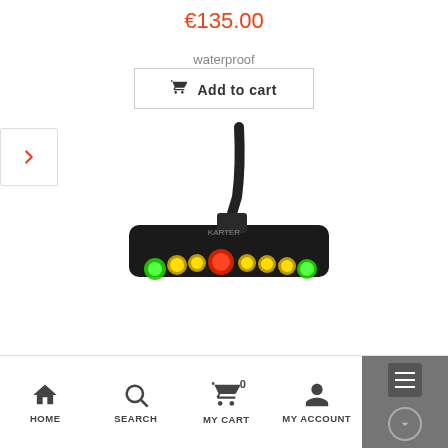€135.00
waterproof
Add to cart
[Figure (photo): A small black electronic device (shift light / lap timer indicator) with multiple LED lights — two bright green outer LEDs, several yellow/amber LEDs, and one center red LED — with a cable attached, branded 'KARTER'.]
HOME   SEARCH   MY CART 0   MY ACCOUNT